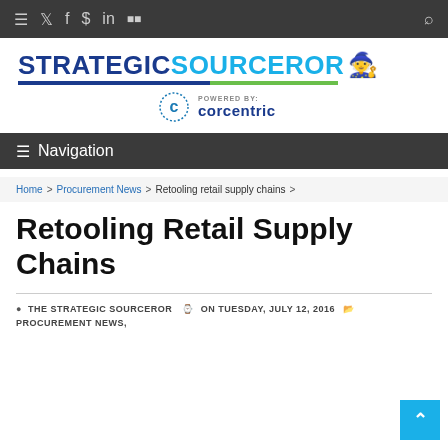Navigation bar with icons: hamburger, twitter, facebook, dollar, linkedin, youtube, search
[Figure (logo): StrategicSourceror logo with wizard hat icon, powered by Corcentric branding, blue and teal colors with green/blue underline]
≡ Navigation
Home > Procurement News > Retooling retail supply chains >
Retooling Retail Supply Chains
THE STRATEGIC SOURCEROR  ON TUESDAY, JULY 12, 2016  PROCUREMENT NEWS,